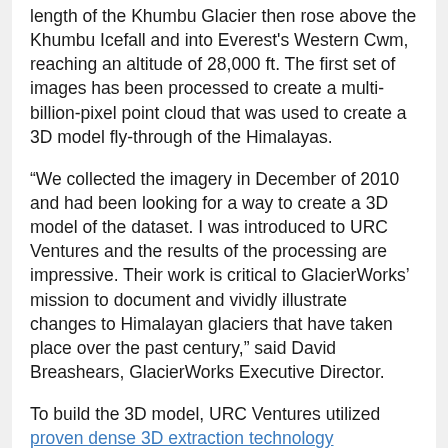length of the Khumbu Glacier then rose above the Khumbu Icefall and into Everest's Western Cwm, reaching an altitude of 28,000 ft. The first set of images has been processed to create a multi-billion-pixel point cloud that was used to create a 3D model fly-through of the Himalayas.
“We collected the imagery in December of 2010 and had been looking for a way to create a 3D model of the dataset. I was introduced to URC Ventures and the results of the processing are impressive. Their work is critical to GlacierWorks’ mission to document and vividly illustrate changes to Himalayan glaciers that have taken place over the past century,” said David Breashears, GlacierWorks Executive Director.
To build the 3D model, URC Ventures utilized proven dense 3D extraction technology converting ordinary 2D imagery into a 3D space, pixel by pixel. The technology developed over the last 10 years by Urban Robotics for specific government applications scales to very large numbers of images and does not require single data capture location points, special cameras or rigorous calibration.
Urban Robotics software is combined with other leading edge 3D technologies to develop commercial solutions that solve large-scale industry problems in mining, construction, and entertainment. The process is automated and leverages